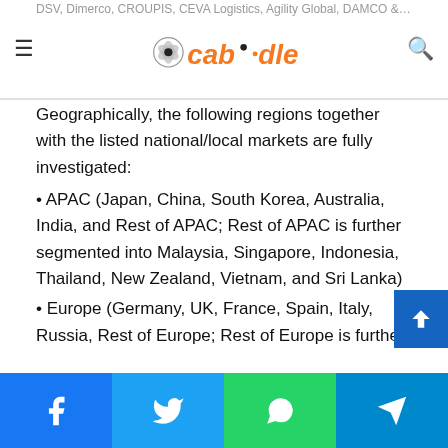DSV, Dimerco, CROUPIS, CEVA Logistics, Agility Global, DAMCO & Kerry Logistics
Caboodle logo navigation bar
Geographically, the following regions together with the listed national/local markets are fully investigated:
• APAC (Japan, China, South Korea, Australia, India, and Rest of APAC; Rest of APAC is further segmented into Malaysia, Singapore, Indonesia, Thailand, New Zealand, Vietnam, and Sri Lanka)
• Europe (Germany, UK, France, Spain, Italy, Russia, Rest of Europe; Rest of Europe is further segmented into Belgium, Denmark, Austria, Norway, Sweden, The Netherlands, Poland, Czech Republic, Slovakia, Hungary, and Romania)
• North America (U.S., Canada, and Mexico)
• South America (Brazil, Chile, Argentina, Rest of South America)
Social sharing bar: Facebook, Twitter, WhatsApp, Telegram